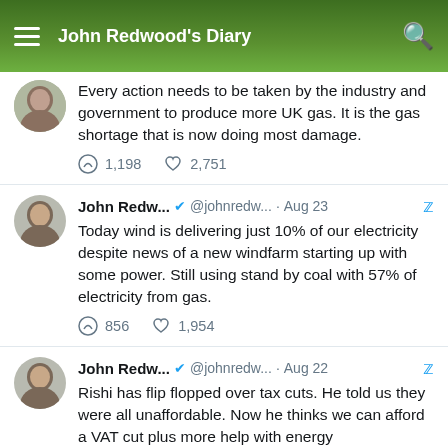John Redwood's Diary
Every action needs to be taken by the industry and government to produce more UK gas. It is the gas shortage that is now doing most damage.
1,198  2,751
John Redw... @johnredw... · Aug 23
Today wind is delivering just 10% of our electricity despite news of a new windfarm starting up with some power. Still using stand by coal with 57% of electricity from gas.
856  1,954
John Redw... @johnredw... · Aug 22
Rishi has flip flopped over tax cuts. He told us they were all unaffordable. Now he thinks we can afford a VAT cut plus more help with energy